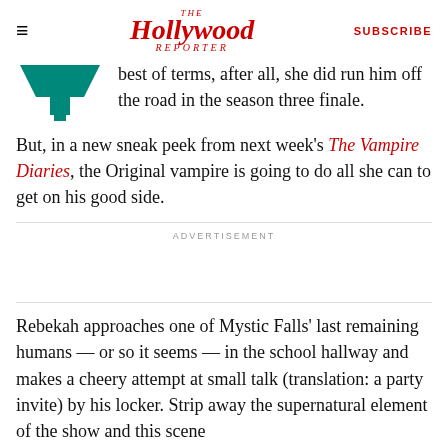The Hollywood Reporter | SUBSCRIBE
best of terms, after all, she did run him off the road in the season three finale. But, in a new sneak peek from next week's The Vampire Diaries, the Original vampire is going to do all she can to get on his good side.
ADVERTISEMENT
Rebekah approaches one of Mystic Falls' last remaining humans — or so it seems — in the school hallway and makes a cheery attempt at small talk (translation: a party invite) by his locker. Strip away the supernatural element of the show and this scene could be any old high school scene, but the...